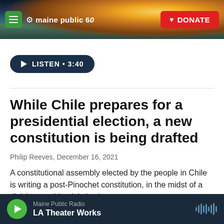maine public 60 | DONATE
[Figure (screenshot): Maine Public radio website header with sunset/landscape banner photo, green hamburger menu button, Maine Public 60 logo in white, and red DONATE button]
LISTEN • 3:40
While Chile prepares for a presidential election, a new constitution is being drafted
Philip Reeves, December 16, 2021
A constitutional assembly elected by the people in Chile is writing a post-Pinochet constitution, in the midst of a divisive presidential election.
LISTEN • 6:10
Maine Public Radio | LA Theater Works